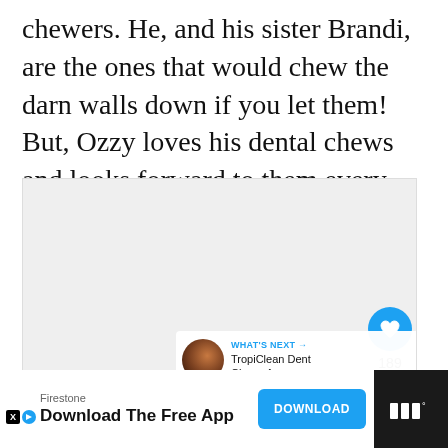chewers. He, and his sister Brandi, are the ones that would chew the darn walls down if you let them! But, Ozzy loves his dental chews and looks forward to them every day.
[Figure (photo): Large embedded image area (photo content not visible), with like button showing heart icon, count of 189, and share button overlay on right side. 'What's Next' teaser showing TropiClean Dental Chews with thumbnail image.]
[Figure (screenshot): Advertisement bar at bottom: Firestone brand, 'Download The Free App' text with blue DOWNLOAD button, X/ad icon on left, dark block on right with Tidal logo.]